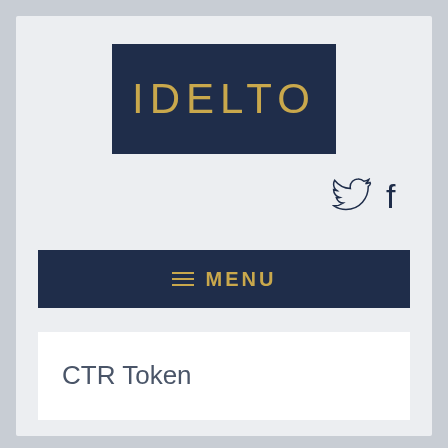[Figure (logo): IDELTO logo: dark navy rectangle with gold stylized text reading IDELTO]
[Figure (illustration): Twitter bird icon and Facebook 'f' icon in dark navy outline style]
≡  MENU
CTR Token